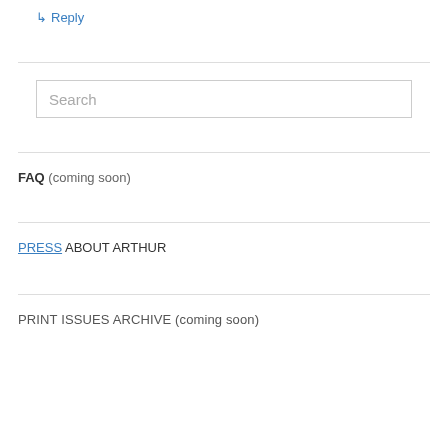↵ Reply
Search
FAQ (coming soon)
PRESS ABOUT ARTHUR
PRINT ISSUES ARCHIVE (coming soon)